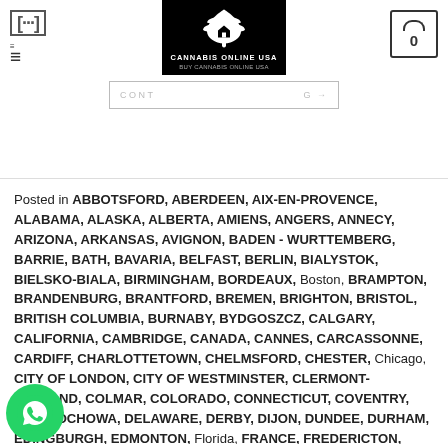[Figure (logo): Cannabis Online USA logo - black box with cannabis leaf icon and text 'CANNABIS ONLINE USA / BUY CANNABIS ONLINE USA']
Posted in ABBOTSFORD, ABERDEEN, AIX-EN-PROVENCE, ALABAMA, ALASKA, ALBERTA, AMIENS, ANGERS, ANNECY, ARIZONA, ARKANSAS, AVIGNON, BADEN - WURTTEMBERG, BARRIE, BATH, BAVARIA, BELFAST, BERLIN, BIALYSTOK, BIELSKO-BIALA, BIRMINGHAM, BORDEAUX, Boston, BRAMPTON, BRANDENBURG, BRANTFORD, BREMEN, BRIGHTON, BRISTOL, BRITISH COLUMBIA, BURNABY, BYDGOSZCZ, CALGARY, CALIFORNIA, CAMBRIDGE, CANADA, CANNES, CARCASSONNE, CARDIFF, CHARLOTTETOWN, CHELMSFORD, CHESTER, Chicago, CITY OF LONDON, CITY OF WESTMINSTER, CLERMONT-FERRAND, COLMAR, COLORADO, CONNECTICUT, COVENTRY, CZESTOCHOWA, DELAWARE, DERBY, DIJON, DUNDEE, DURHAM, EDINGBURGH, EDMONTON, Florida, FRANCE, FREDERICTON, GDANSK, GDYNIA, GEORGIA, GERMANY, GLIWICE, GORZOW, GREATER MANCHESTER, GREATER GREECE, GRENOBLE, GUELPH, HALIFAX, HAMBURG, HAMILTON, HAWAII, HEREFORD, HESSEN, IDAHO, ILLINOIS,